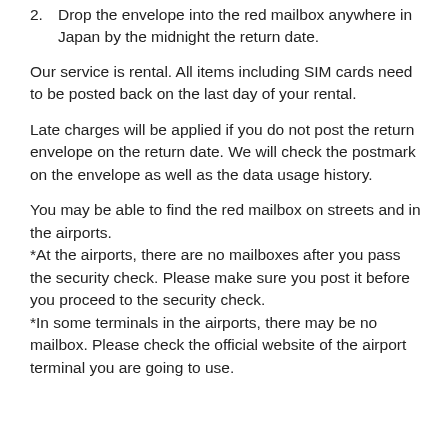2. Drop the envelope into the red mailbox anywhere in Japan by the midnight the return date.
Our service is rental. All items including SIM cards need to be posted back on the last day of your rental.
Late charges will be applied if you do not post the return envelope on the return date. We will check the postmark on the envelope as well as the data usage history.
You may be able to find the red mailbox on streets and in the airports.
*At the airports, there are no mailboxes after you pass the security check. Please make sure you post it before you proceed to the security check.
*In some terminals in the airports, there may be no mailbox. Please check the official website of the airport terminal you are going to use.